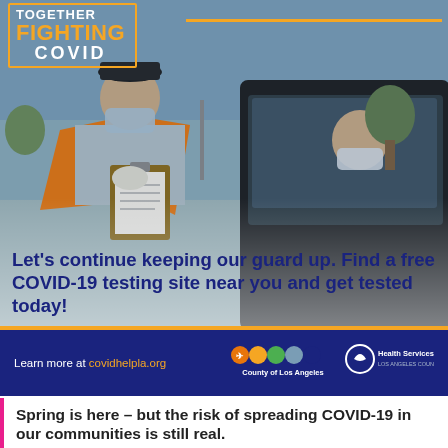[Figure (photo): A healthcare worker in an orange safety vest and face mask holding a clipboard speaks with a masked person sitting in a car at a COVID-19 drive-through testing site. Parking lot background with cars.]
TOGETHER FIGHTING COVID
Let's continue keeping our guard up. Find a free COVID-19 testing site near you and get tested today!
Learn more at covidhelpla.org
[Figure (logo): County of Los Angeles logo with icons]
[Figure (logo): Health Services logo]
Spring is here – but the risk of spreading COVID-19 in our communities is still real.